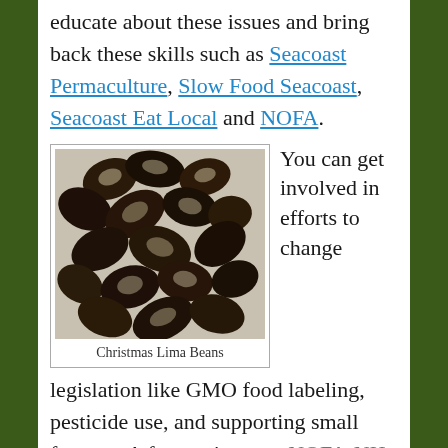educate about these issues and bring back these skills such as Seacoast Permaculture, Slow Food Seacoast, Seacoast Eat Local and NOFA.
[Figure (photo): A close-up black and white photo of Christmas Lima Beans — speckled dark brown and cream colored beans piled together.]
Christmas Lima Beans
You can get involved in efforts to change legislation like GMO food labeling, pesticide use, and supporting small farmers. A few options are NOFA-NH, Just Label It, The Pesticide Action Network, and March Against